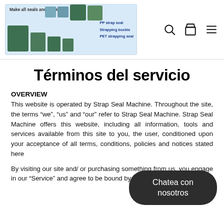[Figure (logo): Strap Seal Machine logo banner showing industrial machines with text: Make all seals and buckles, PP strap seal, Strapping buckle, PET strapping seal]
Términos del servicio
OVERVIEW
This website is operated by Strap Seal Machine. Throughout the site, the terms “we”, “us” and “our” refer to Strap Seal Machine. Strap Seal Machine offers this website, including all information, tools and services available from this site to you, the user, conditioned upon your acceptance of all terms, conditions, policies and notices stated here
By visiting our site and/ or purchasing something from us, you engage in our “Service” and agree to be bound by the following